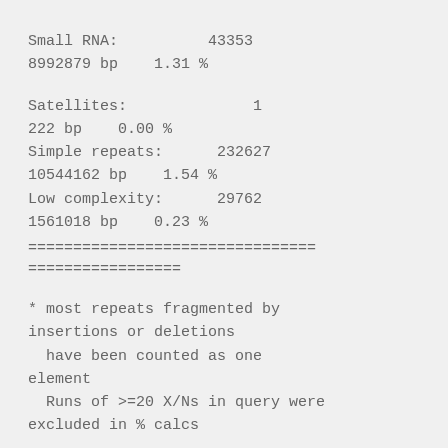Small RNA:          43353
8992879 bp    1.31 %
Satellites:              1
222 bp    0.00 %
Simple repeats:      232627
10544162 bp    1.54 %
Low complexity:      29762
1561018 bp    0.23 %
=================================
=================
* most repeats fragmented by insertions or deletions
  have been counted as one element
  Runs of >=20 X/Ns in query were excluded in % calcs